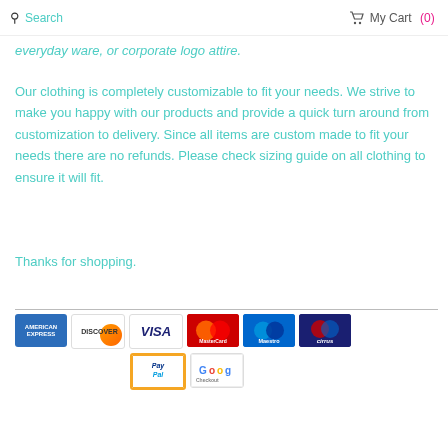Search  My Cart (0)
everyday ware, or corporate logo attire.
Our clothing is completely customizable to fit your needs. We strive to make you happy with our products and provide a quick turn around from customization to delivery. Since all items are custom made to fit your needs there are no refunds. Please check sizing guide on all clothing to ensure it will fit.
Thanks for shopping.
[Figure (infographic): Payment method logos: American Express, Discover, Visa, MasterCard, Maestro, Cirrus, PayPal, Google]